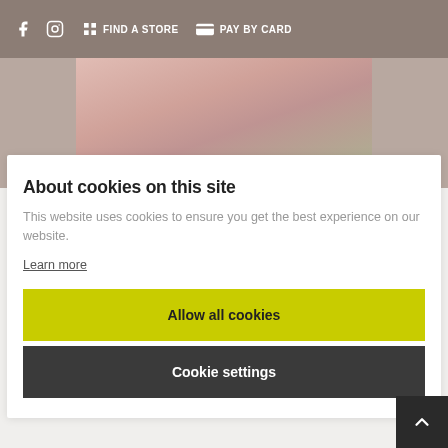FIND A STORE  PAY BY CARD
[Figure (photo): Partial photo of a person in a pink outfit against a green background, shown as a decorative banner strip]
About cookies on this site
This website uses cookies to ensure you get the best experience on our website.
Learn more
Allow all cookies
Cookie settings